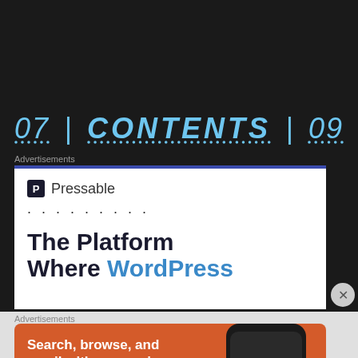07 | CONTENTS | 09
Advertisements
[Figure (other): Pressable advertisement banner: logo with 'Pressable' text, dotted line row, and headline 'The Platform Where WordPress']
Advertisements
[Figure (other): DuckDuckGo advertisement: orange background, text 'Search, browse, and email with more privacy. All in One Free App', phone image with DuckDuckGo logo]